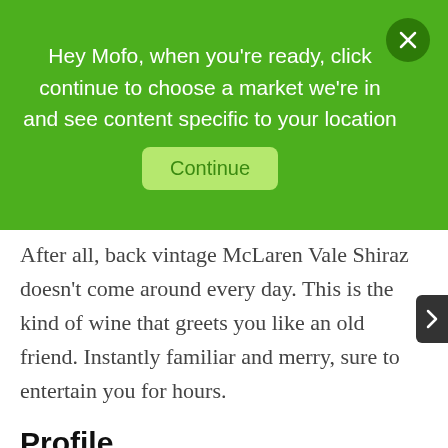Hey Mofo, when you're ready, click continue to choose a market we're in and see content specific to your location
After all, back vintage McLaren Vale Shiraz doesn't come around every day. This is the kind of wine that greets you like an old friend. Instantly familiar and merry, sure to entertain you for hours.
Profile
[Figure (infographic): Four circular black icons with white line drawings: Cedar (wood plank icon), Dark Chocolate (chocolate bar icon), Figs (water drop icon), Full-bodied (person with arms out icon)]
[Figure (infographic): Two partially visible circular black icons in second row, labels not fully visible]